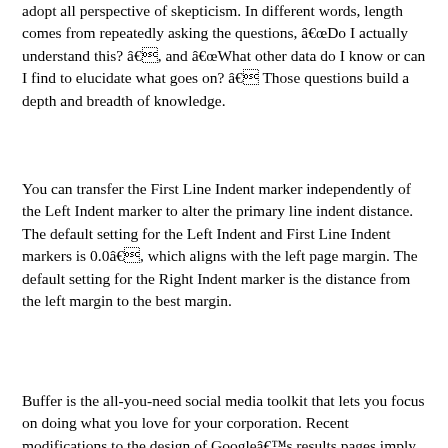adopt all perspective of skepticism. In different words, length comes from repeatedly asking the questions, âDo I actually understand this? â, and âWhat other data do I know or can I find to elucidate what goes on? â Those questions build a depth and breadth of knowledge.
You can transfer the First Line Indent marker independently of the Left Indent marker to alter the primary line indent distance. The default setting for the Left Indent and First Line Indent markers is 0.0â, which aligns with the left page margin. The default setting for the Right Indent marker is the distance from the left margin to the best margin.
Buffer is the all-you-need social media toolkit that lets you focus on doing what you love for your corporation. Recent modifications to the design of Googleâs results pages imply that the maximum size for titles is around 60 characters. If your title exceeds 60 characters, it’ll get truncated with an ellipse. The design change could be seen under where a formerly ideal title has now been truncated. The science behind this 18-minute mark comes from research of consideration spans. Scientists seem to agree on a range of 10 to 18 minutes for a way long most individuals can concentrate before they check out.
Because of this flexibility, white area between paragraph lines can stretch by any quantity required to fill the web page. Such flexibility would lead to paragraphs having very completely different quantities of space between their constituent traces of text, which could not be aesthetically pleasing or simple to read. The following instance opens in Overleaf to create a project containing a file called